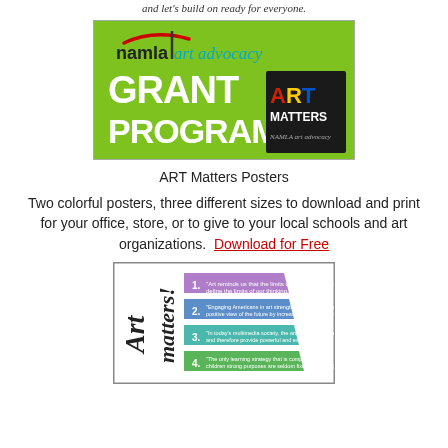and let's build on ready for everyone.
[Figure (illustration): NAMTA Art Advocacy Grant Program banner with 'ART MATTERS' logo on green background]
ART Matters Posters
Two colorful posters, three different sizes to download and print for your office, store, or to give to your local schools and art organizations.  Download for Free
[Figure (illustration): ART Matters poster preview showing colored pencils/crayons with numbered quotes about art]